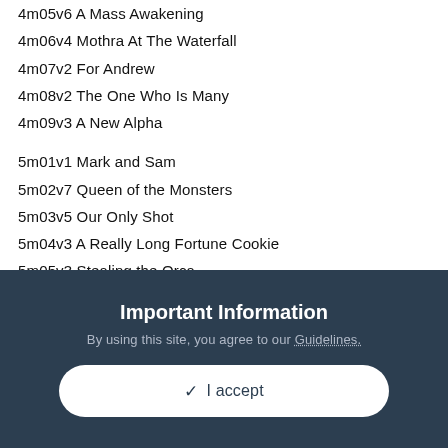4m05v6 A Mass Awakening
4m06v4 Mothra At The Waterfall
4m07v2 For Andrew
4m08v2 The One Who Is Many
4m09v3 A New Alpha
5m01v1 Mark and Sam
5m02v7 Queen of the Monsters
5m03v5 Our Only Shot
5m04v3 A Really Long Fortune Cookie
5m05v3 Stealing the Orca
5m06v9 Hollow Earth
5m07v3 Plugging In
5m08v10 His Home
5m09v3 Titans Cease
5m11v7 Goodbye, Old Friend (truncated)
Important Information
By using this site, you agree to our Guidelines.
✓ I accept